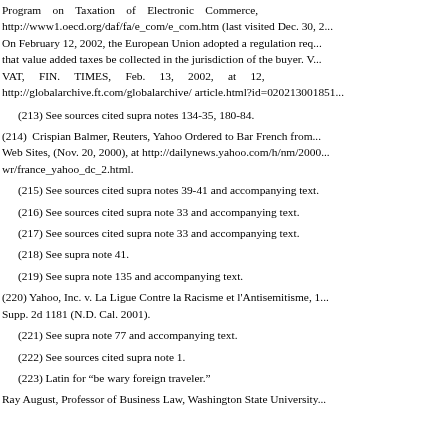Program on Taxation of Electronic Commerce, http://www1.oecd.org/daf/fa/e_com/e_com.htm (last visited Dec. 30, 2... On February 12, 2002, the European Union adopted a regulation req... that value added taxes be collected in the jurisdiction of the buyer. V... VAT, FIN. TIMES, Feb. 13, 2002, at 12, http://globalarchive.ft.com/globalarchive/ article.html?id=020213001851...
(213) See sources cited supra notes 134-35, 180-84.
(214) Crispian Balmer, Reuters, Yahoo Ordered to Bar French from... Web Sites, (Nov. 20, 2000), at http://dailynews.yahoo.com/h/nm/2000... wr/france_yahoo_dc_2.html.
(215) See sources cited supra notes 39-41 and accompanying text.
(216) See sources cited supra note 33 and accompanying text.
(217) See sources cited supra note 33 and accompanying text.
(218) See supra note 41.
(219) See supra note 135 and accompanying text.
(220) Yahoo, Inc. v. La Ligue Contre la Racisme et l'Antisemitisme, 1... Supp. 2d 1181 (N.D. Cal. 2001).
(221) See supra note 77 and accompanying text.
(222) See sources cited supra note 1.
(223) Latin for "be wary foreign traveler."
Ray August, Professor of Business Law, Washington State University...